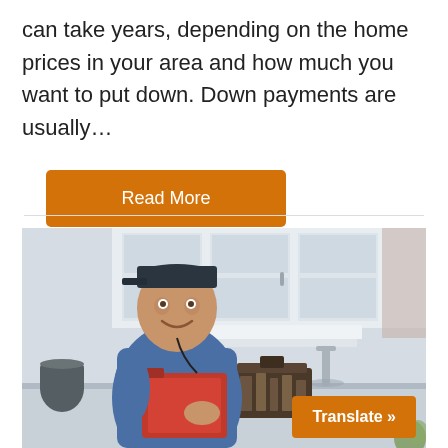can take years, depending on the home prices in your area and how much you want to put down. Down payments are usually…
Read More
[Figure (photo): A smiling young man in a denim shirt and cap holding a red clipboard/tablet, standing in a kitchen with white cabinets. A toolbox is visible beside him and a sink faucet in the foreground.]
Translate »